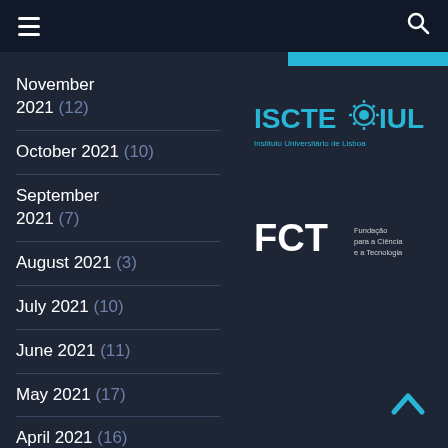Navigation menu and search
November 2021 (12)
October 2021 (10)
September 2021 (7)
August 2021 (3)
July 2021 (10)
June 2021 (11)
May 2021 (17)
April 2021 (16)
March 2021 (29)
February 2021 (18)
January 2021 (19)
[Figure (logo): ISCTE-IUL Instituto Universitário de Lisboa logo]
[Figure (logo): FCT Fundação para a Ciência e a Tecnologia logo]